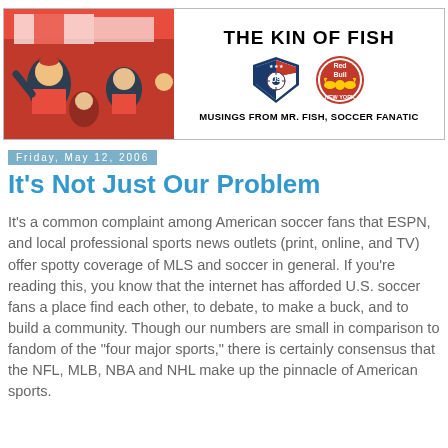[Figure (photo): Blog header banner with photo of soccer fan in red jersey on left, and blog title/logos on right]
Friday, May 12, 2006
It's Not Just Our Problem
It's a common complaint among American soccer fans that ESPN, and local professional sports news outlets (print, online, and TV) offer spotty coverage of MLS and soccer in general. If you're reading this, you know that the internet has afforded U.S. soccer fans a place find each other, to debate, to make a buck, and to build a community. Though our numbers are small in comparison to fandom of the "four major sports," there is certainly consensus that the NFL, MLB, NBA and NHL make up the pinnacle of American sports.